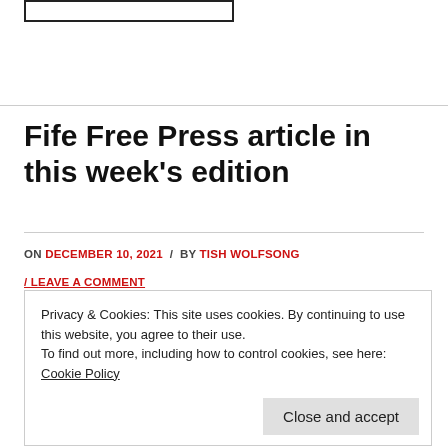[Figure (logo): Empty rectangular logo/banner placeholder box at top left]
Fife Free Press article in this week's edition
ON DECEMBER 10, 2021 / BY TISH WOLFSONG
/ LEAVE A COMMENT
Privacy & Cookies: This site uses cookies. By continuing to use this website, you agree to their use.
To find out more, including how to control cookies, see here: Cookie Policy
Close and accept
are some things I need to say about it …